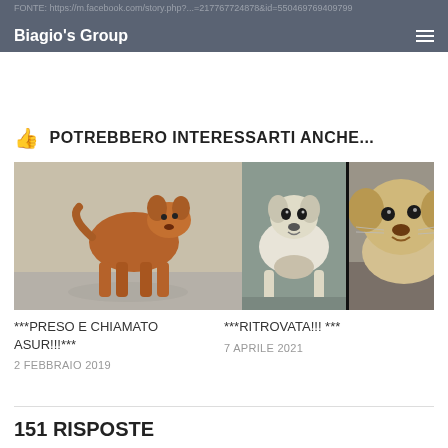Biagio's Group
POTREBBERO INTERESSARTI ANCHE...
[Figure (photo): Brown/golden dog standing on a reflective floor, looking at the camera]
[Figure (photo): White dog carrying something in its mouth]
[Figure (photo): Light-colored dog close-up, looking to the left]
***PRESO E CHIAMATO ASUR!!!***
2 FEBBRAIO 2019
***RITROVATA!!! ***
7 APRILE 2021
151 RISPOSTE